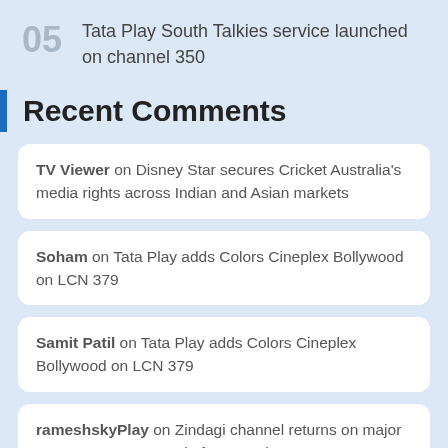05 Tata Play South Talkies service launched on channel 350
Recent Comments
TV Viewer on Disney Star secures Cricket Australia's media rights across Indian and Asian markets
Soham on Tata Play adds Colors Cineplex Bollywood on LCN 379
Samit Patil on Tata Play adds Colors Cineplex Bollywood on LCN 379
rameshskyPlay on Zindagi channel returns on major DTU operators as a platform service